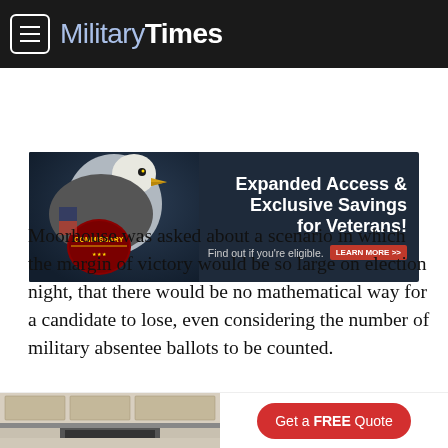Military Times
[Figure (infographic): Commissary advertisement banner featuring a bald eagle and military imagery. Text reads: 'Expanded Access & Exclusive Savings for Veterans! Find out if you're eligible. LEARN MORE >>']
Moorhouse was asked about a scenario in which the margin of victory would be so large on election night, that there would be no mathematical way for a candidate to lose, even considering the number of military absentee ballots to be counted.
“When we say we are worried about ballots not being
[Figure (infographic): Bottom advertisement banner showing a kitchen and a red 'Get a FREE Quote' button]